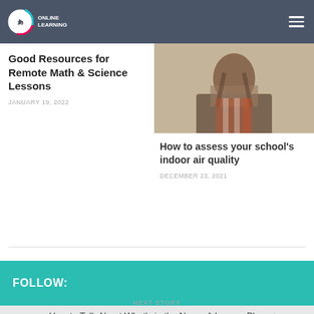Online Learning
Good Resources for Remote Math & Science Lessons
JANUARY 19, 2022
[Figure (photo): Photo of a person with long hair wearing a plaid shirt, outdoors]
How to assess your school's indoor air quality
DECEMBER 23, 2021
FOLLOW:
NEXT STORY
How to Talk About What's in the News: A Lesson Plan